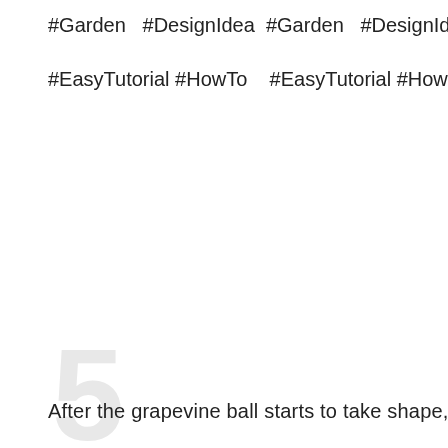#Garden   #DesignIdea   #Garden   #DesignIdea
#EasyTutorial #HowTo      #EasyTutorial #HowTo
5
After the grapevine ball starts to take shape, you